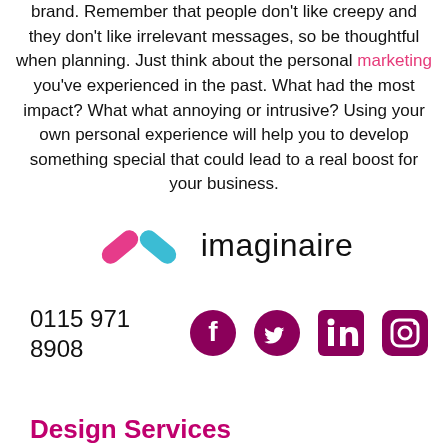brand. Remember that people don't like creepy and they don't like irrelevant messages, so be thoughtful when planning. Just think about the personal marketing you've experienced in the past. What had the most impact? What what annoying or intrusive? Using your own personal experience will help you to develop something special that could lead to a real boost for your business.
[Figure (logo): Imaginaire logo with a pink and teal chevron/arrow icon and the word 'imaginaire' in dark text]
0115 971 8908
[Figure (illustration): Social media icons: Facebook, Twitter, LinkedIn, Instagram — all in dark magenta/purple color]
Design Services